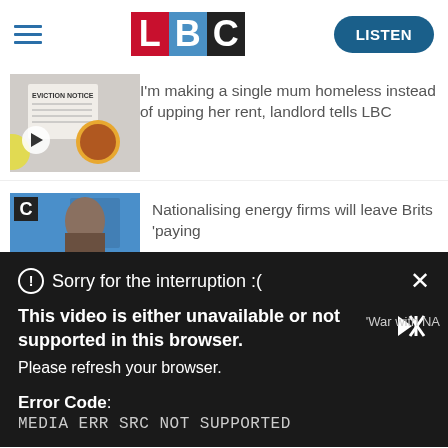[Figure (logo): LBC radio logo with L in red, B in blue, C in black/dark, with hamburger menu on left and LISTEN button on right]
[Figure (screenshot): News article thumbnail showing an eviction notice document with a woman photo, play button overlay]
I'm making a single mum homeless instead of upping her rent, landlord tells LBC
[Figure (screenshot): Second news article thumbnail with LBC C badge and a person speaking]
Nationalising energy firms will leave Brits 'paying
[Figure (screenshot): Video error overlay dialog box: Sorry for the interruption :( with close X button, error message: This video is either unavailable or not supported in this browser. Please refresh your browser. Error Code: MEDIA ERR SRC NOT SUPPORTED]
'War with NA